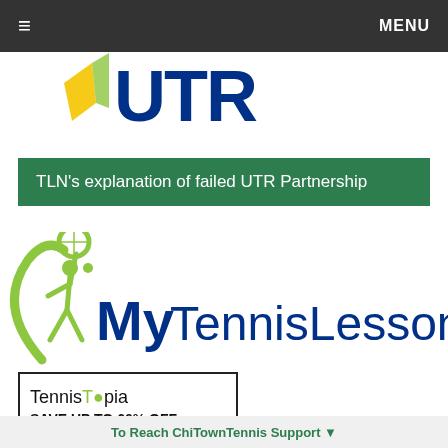≡   MENU
[Figure (logo): Partial blue logo (UTR-style) cropped at top of page]
TLN's explanation of failed UTR Partnership
[Figure (logo): MyTennisLessons logo with green figure holding tennis racket and blue text]
[Figure (logo): TennisTopia advertisement box with text: TennisTopia SAVE UP TO 60% OFF]
To Reach ChiTownTennis Support ▼